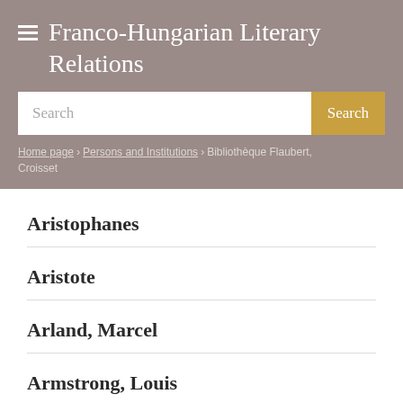Franco-Hungarian Literary Relations
Search
Home page / Persons and Institutions / Bibliothèque Flaubert, Croisset
Aristophanes
Aristote
Arland, Marcel
Armstrong, Louis